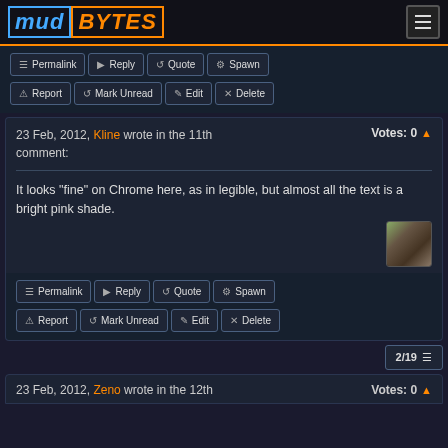MUDBYTES [hamburger menu]
Permalink | Reply | Quote | Spawn | Report | Mark Unread | Edit | Delete
23 Feb, 2012, Kline wrote in the 11th comment: Votes: 0
It looks "fine" on Chrome here, as in legible, but almost all the text is a bright pink shade.
Permalink | Reply | Quote | Spawn | Report | Mark Unread | Edit | Delete
2/19
23 Feb, 2012, Zeno wrote in the 12th Votes: 0